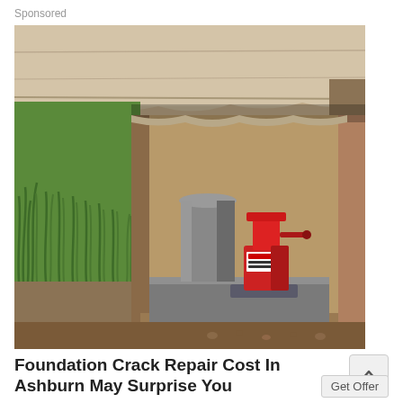Sponsored
[Figure (photo): Photograph showing a foundation repair setup: a concrete foundation slab with soil and green grass visible on the left, and underneath the foundation a gray concrete pier with a red hydraulic floor jack placed on a gray concrete block pad, set in an excavated pit.]
Foundation Crack Repair Cost In Ashburn May Surprise You
Get Offer